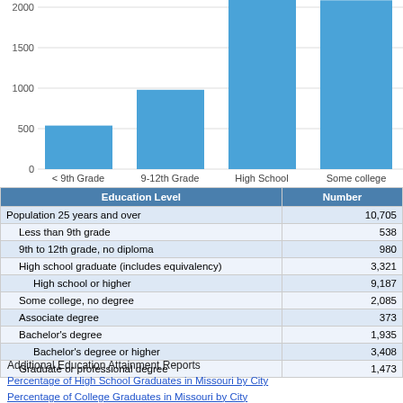[Figure (bar-chart): Education Level Distribution]
| Education Level | Number |
| --- | --- |
| Population 25 years and over | 10,705 |
| Less than 9th grade | 538 |
| 9th to 12th grade, no diploma | 980 |
| High school graduate (includes equivalency) | 3,321 |
| High school or higher | 9,187 |
| Some college, no degree | 2,085 |
| Associate degree | 373 |
| Bachelor's degree | 1,935 |
| Bachelor's degree or higher | 3,408 |
| Graduate or professional degree | 1,473 |
Additional Education Attainment Reports
Percentage of High School Graduates in Missouri by City
Percentage of College Graduates in Missouri by City
Download Data